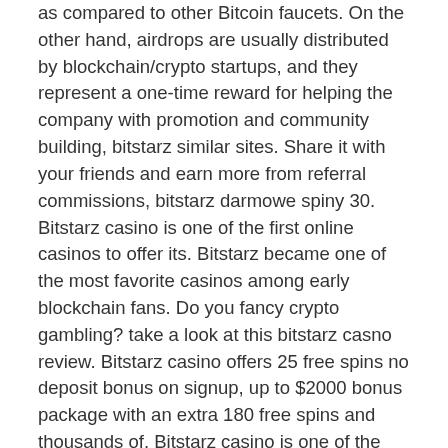as compared to other Bitcoin faucets. On the other hand, airdrops are usually distributed by blockchain/crypto startups, and they represent a one-time reward for helping the company with promotion and community building, bitstarz similar sites. Share it with your friends and earn more from referral commissions, bitstarz darmowe spiny 30. Bitstarz casino is one of the first online casinos to offer its. Bitstarz became one of the most favorite casinos among early blockchain fans. Do you fancy crypto gambling? take a look at this bitstarz casno review. Bitstarz casino offers 25 free spins no deposit bonus on signup, up to $2000 bonus package with an extra 180 free spins and thousands of. Bitstarz casino is one of the few casinos that have drawn lots of attention among so many online casinos in the last few years. The advantages the casino. First deposit: 100% bonus up to $2,000 or 1 btc plus 180 free spins – make